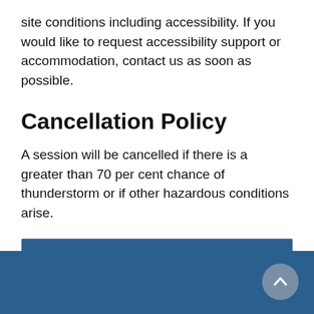site conditions including accessibility. If you would like to request accessibility support or accommodation, contact us as soon as possible.
Cancellation Policy
A session will be cancelled if there is a greater than 70 per cent chance of thunderstorm or if other hazardous conditions arise.
| In This Section |
| --- |
| Volunteer with the City |